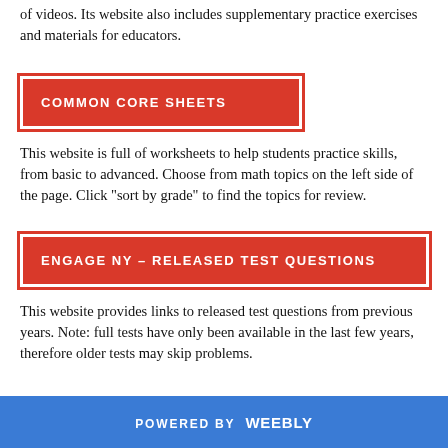of videos. Its website also includes supplementary practice exercises and materials for educators.
COMMON CORE SHEETS
This website is full of worksheets to help students practice skills, from basic to advanced. Choose from math topics on the left side of the page. Click "sort by grade" to find the topics for review.
ENGAGE NY - RELEASED TEST QUESTIONS
This website provides links to released test questions from previous years. Note: full tests have only been available in the last few years, therefore older tests may skip problems.
POWERED BY weebly